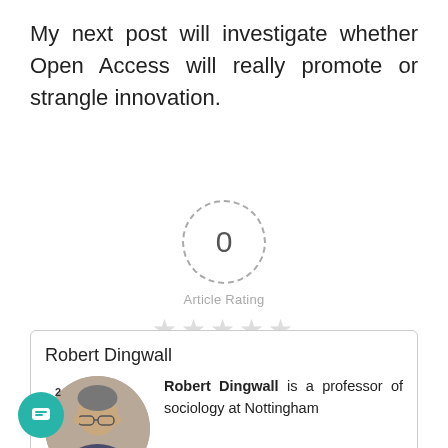My next post will investigate whether Open Access will really promote or strangle innovation.
[Figure (infographic): Article rating widget: dashed circle with '0' inside, label 'Article Rating' below, five empty grey stars beneath]
Robert Dingwall
[Figure (photo): Circular portrait photo of Robert Dingwall, an older man with glasses]
Robert Dingwall is a professor of sociology at Nottingham Trent University. He also serves